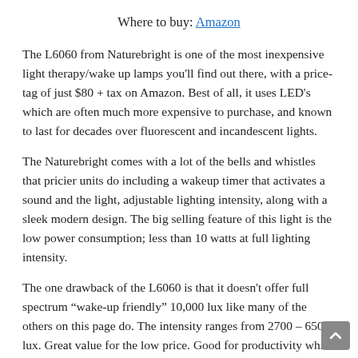Where to buy: Amazon
The L6060 from Naturebright is one of the most inexpensive light therapy/wake up lamps you'll find out there, with a price-tag of just $80 + tax on Amazon. Best of all, it uses LED's which are often much more expensive to purchase, and known to last for decades over fluorescent and incandescent lights.
The Naturebright comes with a lot of the bells and whistles that pricier units do including a wakeup timer that activates a sound and the light, adjustable lighting intensity, along with a sleek modern design. The big selling feature of this light is the low power consumption; less than 10 watts at full lighting intensity.
The one drawback of the L6060 is that it doesn't offer full spectrum “wake-up friendly” 10,000 lux like many of the others on this page do. The intensity ranges from 2700 – 6500 lux. Great value for the low price. Good for productivity while working